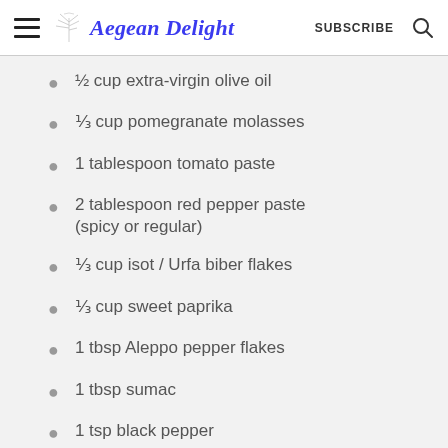Aegean Delight | SUBSCRIBE
½ cup extra-virgin olive oil
⅓ cup pomegranate molasses
1 tablespoon tomato paste
2 tablespoon red pepper paste (spicy or regular)
⅓ cup isot / Urfa biber flakes
⅓ cup sweet paprika
1 tbsp Aleppo pepper flakes
1 tbsp sumac
1 tsp black pepper